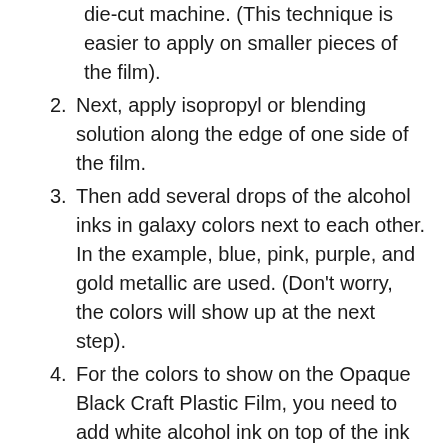die-cut machine. (This technique is easier to apply on smaller pieces of the film).
Next, apply isopropyl or blending solution along the edge of one side of the film.
Then add several drops of the alcohol inks in galaxy colors next to each other. In the example, blue, pink, purple, and gold metallic are used. (Don't worry, the colors will show up at the next step).
For the colors to show on the Opaque Black Craft Plastic Film, you need to add white alcohol ink on top of the ink that you have already applied. In the example, Ranger Snow Cap is used.
Adding 5 to 8 drops on your small sheet is recommended but play around with it and create different pieces in which you vary the amount of white. (It takes a little bit of experimenting to know how much white alcohol ink you will need to apply).
To make the ink flow over the film add some more